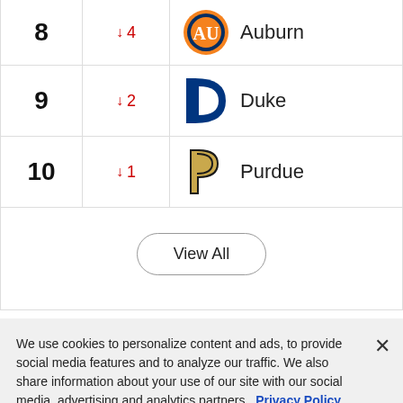| Rank | Change | Team |
| --- | --- | --- |
| 8 | ↓ 4 | Auburn |
| 9 | ↓ 2 | Duke |
| 10 | ↓ 1 | Purdue |
|  | View All |  |
We use cookies to personalize content and ads, to provide social media features and to analyze our traffic. We also share information about your use of our site with our social media, advertising and analytics partners. Privacy Policy